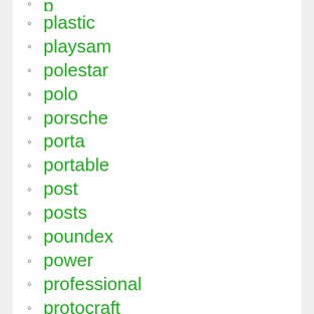plastic
playsam
polestar
polo
porsche
porta
portable
post
posts
poundex
power
professional
protocraft
purple
purpose
pvs-14
pyramex
qiangtong